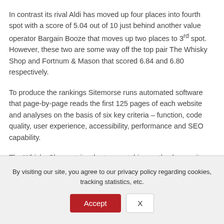In contrast its rival Aldi has moved up four places into fourth spot with a score of 5.04 out of 10 just behind another value operator Bargain Booze that moves up two places to 3rd spot. However, these two are some way off the top pair The Whisky Shop and Fortnum & Mason that scored 6.84 and 6.80 respectively.
To produce the rankings Sitemorse runs automated software that page-by-page reads the first 125 pages of each website and analyses on the basis of six key criteria – function, code quality, user experience, accessibility, performance and SEO capability.
The Whisky Shop retains the top spot this month whereas its rival for many months Spar (UK) has had a weak December, with its fall of three places to fifth spot. This is the first time it has not been in the top two positions since the table has been produced in 2012.
By visiting our site, you agree to our privacy policy regarding cookies, tracking statistics, etc.